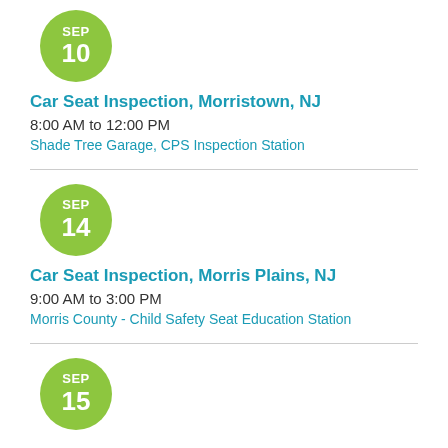[Figure (other): Green circular date badge showing SEP 10]
Car Seat Inspection, Morristown, NJ
8:00 AM to 12:00 PM
Shade Tree Garage, CPS Inspection Station
[Figure (other): Green circular date badge showing SEP 14]
Car Seat Inspection, Morris Plains, NJ
9:00 AM to 3:00 PM
Morris County - Child Safety Seat Education Station
[Figure (other): Green circular date badge showing SEP 15]